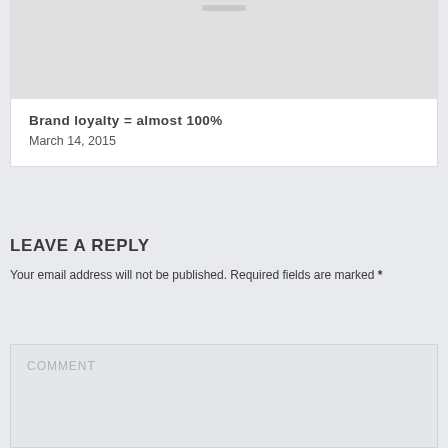[Figure (other): Gray image placeholder with a small darker gray bar at the top center]
Brand loyalty = almost 100%
March 14, 2015
LEAVE A REPLY
Your email address will not be published. Required fields are marked *
COMMENT